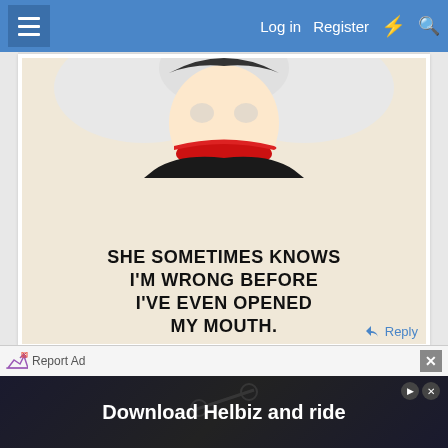Log in  Register
[Figure (illustration): Cartoon meme showing an anime-style character with white hair and a red scarf/bandana covering their lower face, with bold text reading: SHE SOMETIMES KNOWS I'M WRONG BEFORE I'VE EVEN OPENED MY MOUTH.]
Reply
Report Ad
[Figure (screenshot): Advertisement banner with dark background showing text: Download Helbiz and ride]